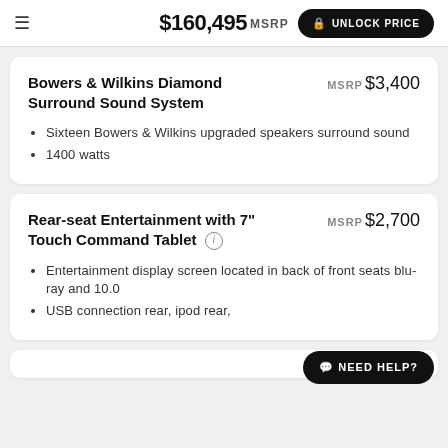$160,495 MSRP  UNLOCK PRICE
Bowers & Wilkins Diamond Surround Sound System
MSRP $3,400
Sixteen Bowers & Wilkins upgraded speakers surround sound
1400 watts
Rear-seat Entertainment with 7" Touch Command Tablet
MSRP $2,700
Entertainment display screen located in back of front seats blu-ray and 10.0
USB connection rear, ipod rear,